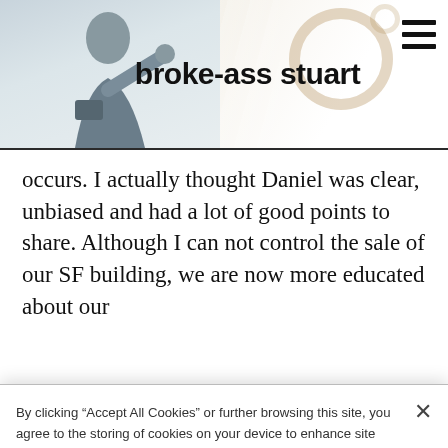broke-ass stuart
occurs. I actually thought Daniel was clear, unbiased and had a lot of good points to share. Although I can not control the sale of our SF building, we are now more educated about our
By clicking “Accept All Cookies” or further browsing this site, you agree to the storing of cookies on your device to enhance site navigation, analyze site usage, and assist in our marketing efforts. Cookie Policy
Cookies Settings
Reject All
Accept All Cookies